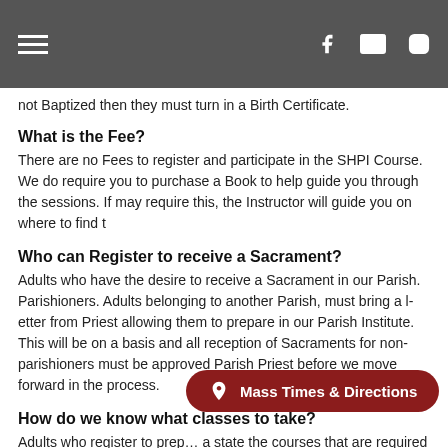Navigation header with hamburger menu, Facebook, email, and Instagram icons
not Baptized then they must turn in a Birth Certificate.
What is the Fee?
There are no Fees to register and participate in the SHPI Course. We do require you to purchase a Book to help guide you through the sessions. If may require this, the Instructor will guide you on where to find t
Who can Register to receive a Sacrament?
Adults who have the desire to receive a Sacrament in our Parish. Parishioners. Adults belonging to another Parish, must bring a letter from Priest allowing them to prepare in our Parish Institute. This will be on a basis and all reception of Sacraments for non-parishioners must be approved Parish Priest before we move forward in the process.
How do we know what classes to take?
Adults who register to prep... a state the courses that are required for each individual. All adults